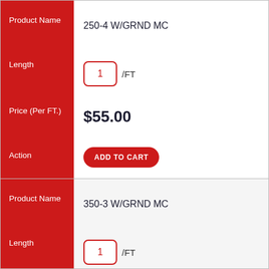| Field | Value |
| --- | --- |
| Product Name | 250-4 W/GRND MC |
| Length | 1 /FT |
| Price (Per FT.) | $55.00 |
| Action | ADD TO CART |
| Product Name | 350-3 W/GRND MC |
| Length | 1 /FT |
| Price (Per FT.) | $43.50 |
| Action | ADD TO CART |
| Product Name | 350-4 W/GRND MC |